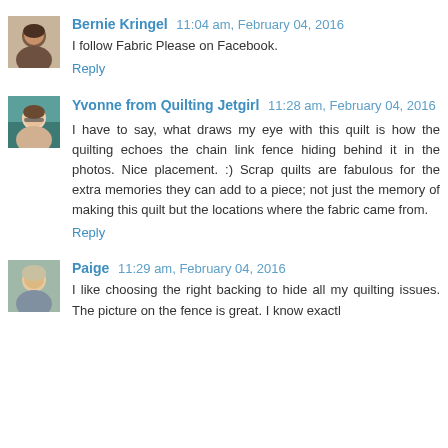[Figure (photo): Avatar photo of Bernie Kringel, a person with short dark hair]
Bernie Kringel  11:04 am, February 04, 2016
I follow Fabric Please on Facebook.
Reply
[Figure (photo): Avatar photo of Yvonne from Quilting Jetgirl, a person with glasses and teal/green background]
Yvonne from Quilting Jetgirl  11:28 am, February 04, 2016
I have to say, what draws my eye with this quilt is how the quilting echoes the chain link fence hiding behind it in the photos. Nice placement. :) Scrap quilts are fabulous for the extra memories they can add to a piece; not just the memory of making this quilt but the locations where the fabric came from.
Reply
[Figure (photo): Avatar photo of Paige, a person with light hair]
Paige  11:29 am, February 04, 2016
I like choosing the right backing to hide all my quilting issues. The picture on the fence is great. I know exactly...